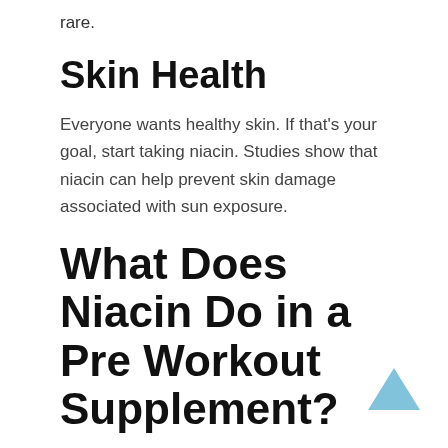rare.
Skin Health
Everyone wants healthy skin. If that's your goal, start taking niacin. Studies show that niacin can help prevent skin damage associated with sun exposure.
What Does Niacin Do in a Pre Workout Supplement?
When a bodybuilder uses a supplement that contains niacin, it can increase vascularity. This is a term for having more pronounced veins. For some people, it's understandably scary to think about veins looking like they're going to pop out of their skin.